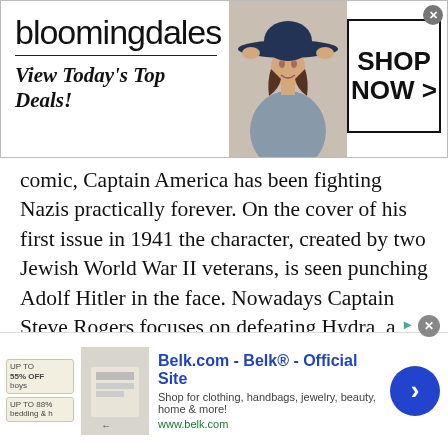[Figure (screenshot): Bloomingdales advertisement banner: logo text 'bloomingdales', tagline 'View Today's Top Deals!', image of woman in wide-brim hat, 'SHOP NOW >' button in box]
comic, Captain America has been fighting Nazis practically forever. On the cover of his first issue in 1941 the character, created by two Jewish World War II veterans, is seen punching Adolf Hitler in the face. Nowadays Captain Steve Rogers focuses on defeating Hydra, a Nazi splinter group. The logo may be a sea monster instead of a swastika and the leader a red-faced supervillain, but a two-armed salute and “Hail Hydra” motto isn’t hiding their fascist terrorism.
“Raiders of the Lost Ark”—The adventures of
[Figure (screenshot): Belk.com advertisement banner: 'Belk® - Official Site', promotional badges, product image, 'Shop for clothing, handbags, jewelry, beauty, home & more!' text, www.belk.com URL, blue circular arrow button]